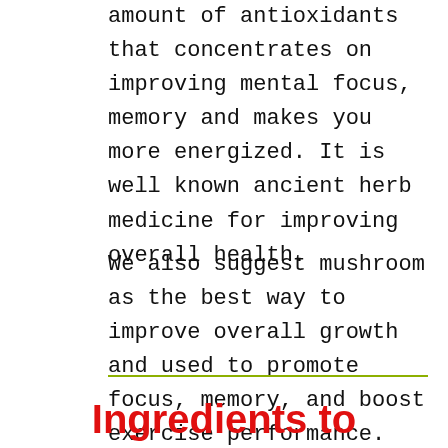amount of antioxidants that concentrates on improving mental focus, memory and makes you more energized. It is well known ancient herb medicine for improving overall health.
We also suggest mushroom as the best way to improve overall growth and used to promote focus, memory, and boost exercise performance.
Ingredients to Explore